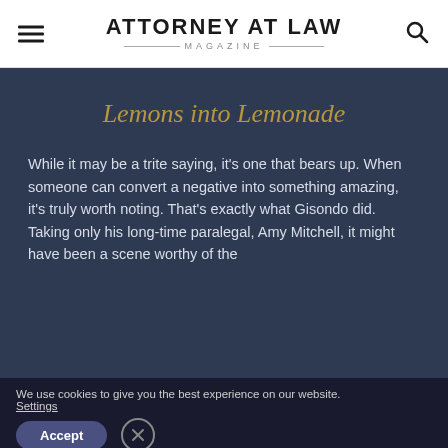ATTORNEY AT LAW MAGAZINE
Lemons into Lemonade
While it may be a trite saying, it’s one that bears up. When someone can convert a negative into something amazing, it’s truly worth noting. That’s exactly what Gisondo did. Taking only his long-time paralegal, Amy Mitchell, it might have been a scene worthy of the
We use cookies to give you the best experience on our website. Settings